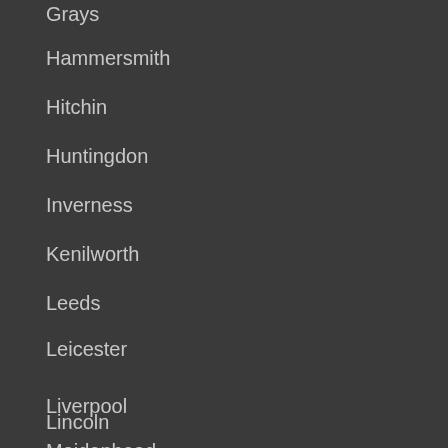Grays
Hammersmith
Hitchin
Huntingdon
Inverness
Kenilworth
Leeds
Leicester
Lincoln
Liverpool
Maidenhead
Maidstone
Milton Keynes